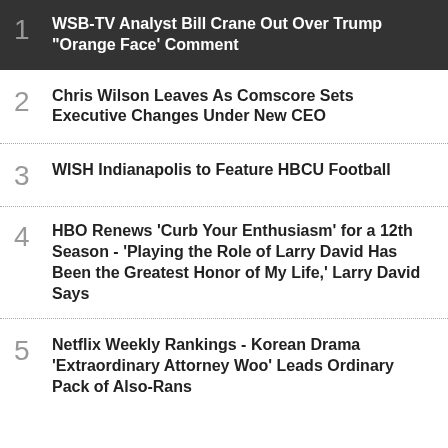1  WSB-TV Analyst Bill Crane Out Over Trump "Orange Face' Comment
2  Chris Wilson Leaves As Comscore Sets Executive Changes Under New CEO
3  WISH Indianapolis to Feature HBCU Football
4  HBO Renews 'Curb Your Enthusiasm' for a 12th Season - 'Playing the Role of Larry David Has Been the Greatest Honor of My Life,' Larry David Says
5  Netflix Weekly Rankings - Korean Drama 'Extraordinary Attorney Woo' Leads Ordinary Pack of Also-Rans